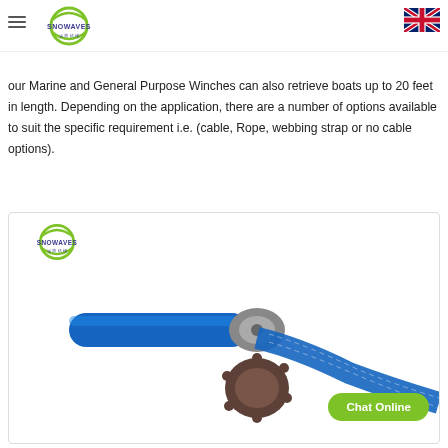Snowaves header with logo and UK flag
our Marine and General Purpose Winches can also retrieve boats up to 20 feet in length. Depending on the application, there are a number of options available to suit the specific requirement i.e. (cable, Rope, webbing strap or no cable options).
[Figure (photo): Product photo of a Snowaves winch with a blue handle and blue webbing strap, shown with the Snowaves logo and a Chat Online button overlay.]